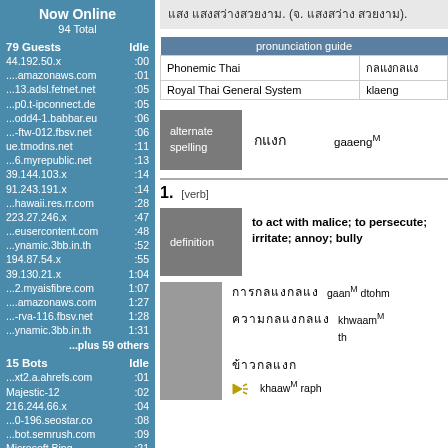Thai text block (top right area)
| pronunciation guide |  |
| --- | --- |
| Phonemic Thai | Thai characters |
| Royal Thai General System | klaeng |
alternate spelling — Thai characters — gaaengM
1. [verb]
definition: to act with malice; to persecute; irritate; annoy; bully
Thai characters — gaanM dtohm...
Thai characters — khwaamM th...
Thai characters — khaawM raphH...
Now Online
94 Total
79 Guests Idle
44.192.50.x :00
....amazonaws.com :01
...13.adsl.fetnet.net :05
...p0.t-ipconnect.de :05
...odd4-1.babbar.eu :06
...-ftw-012.fbsv.net :06
ue.tmodns.net :11
...6.myrepublic.net :13
39.144.103.x :14
91.243.191.x :14
...hawaii.res.rr.com :28
223.27.246.x :47
...eusercontent.com :48
...ynamic.3bb.in.th :52
194.87.54.x :55
39.130.21.x 1:04
...2.myaisfibre.com 1:07
....amazonaws.com 1:27
...-rva-116.fbsv.net 1:28
...ynamic.3bb.in.th 1:31
...plus 59 others
15 Bots Idle
...xt2.a.ahrefs.com :01
Majestic-12 :02
216.244.66.x :04
...0-196.seostar.co :08
...bot.semrush.com :09
Microsoft Bing :21
...8-169.seznam.cz 1:31
Google 1:38
...-91.infotiger.com 2:31
...plebot.apple.com 3:08
...plebot.apple.com 3:16
Yandex 7:43